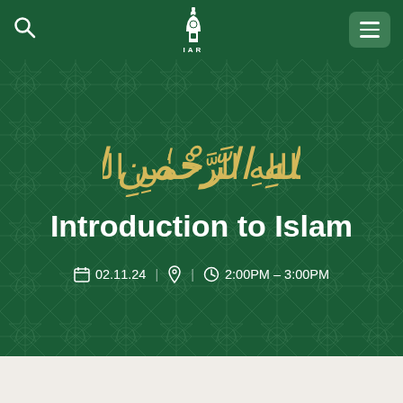[Figure (screenshot): IAR mosque logo with minaret icon and 'IAR' text below]
[Figure (illustration): Arabic Bismillah calligraphy in gold/cream on green background]
Introduction to Islam
02.11.24  |    |  2:00PM - 3:00PM